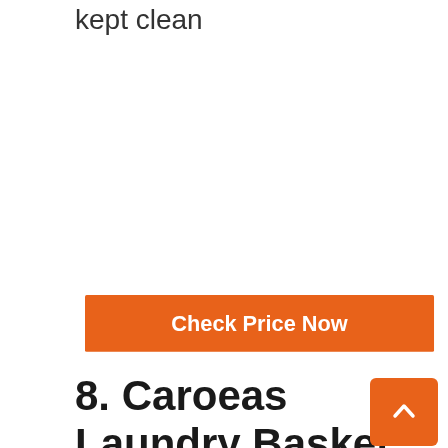charming, natural design and can be kept clean
Check Price Now
8. Caroeas Laundry Basket On Wheels,